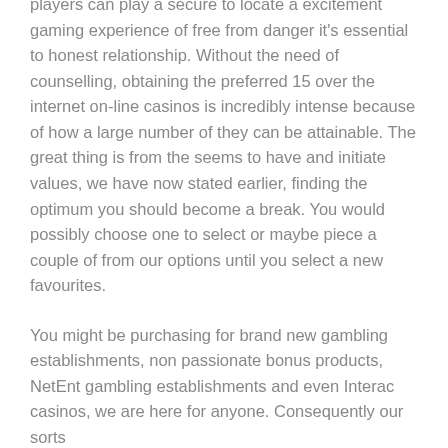players can play a secure to locate a excitement gaming experience of free from danger it's essential to honest relationship. Without the need of counselling, obtaining the preferred 15 over the internet on-line casinos is incredibly intense because of how a large number of they can be attainable. The great thing is from the seems to have and initiate values, we have now stated earlier, finding the optimum you should become a break. You would possibly choose one to select or maybe piece a couple of from our options until you select a new favourites.
You might be purchasing for brand new gambling establishments, non passionate bonus products, NetEnt gambling establishments and even Interac casinos, we are here for anyone. Consequently our sorts